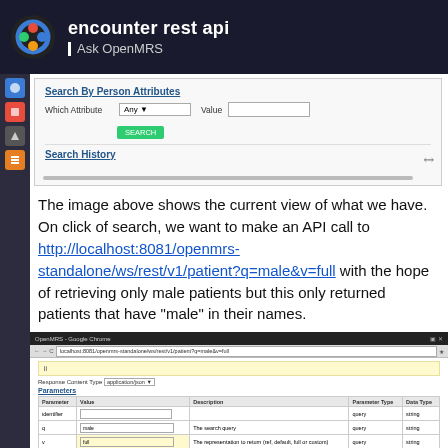encounter rest api | Ask OpenMRS
[Figure (screenshot): Screenshot of OpenMRS patient search interface showing Search By Person Attributes section with Which Attribute dropdown set to Any, a Value input, a SEARCH button, and a Search History section below.]
The image above shows the current view of what we have. On click of search, we want to make an API call to http://localhost:8081/openmrs-standalone/ws/rest/v1/patient?q=male&v=full with the hope of retrieving only male patients but this only returned patients that have "male" in their names.
[Figure (screenshot): Screenshot of OpenMRS REST API web interface in Google Chrome showing a patient endpoint with Parameters table listing identifier, q, v (highlighted), lastlyUsed, limit, startIndex fields with query type and data types shown. Try it out and Hide Response buttons visible at bottom. curl command shown at bottom.]
15 / 16